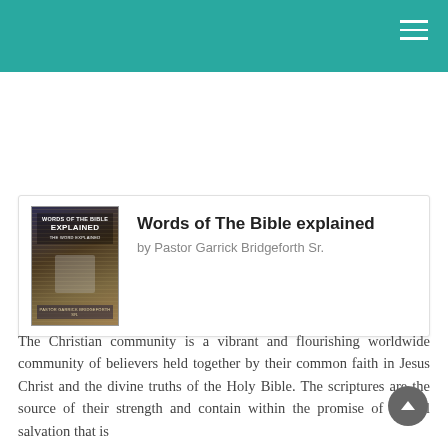[Figure (other): GET BOOK button with PDF icon in blue]
[Figure (photo): Book cover of 'Words of The Bible Explained' by Pastor Garrick Bridgeforth Sr.]
Words of The Bible explained
by Pastor Garrick Bridgeforth Sr.
The Christian community is a vibrant and flourishing worldwide community of believers held together by their common faith in Jesus Christ and the divine truths of the Holy Bible. The scriptures are the source of their strength and contain within the promise of eternal salvation that is